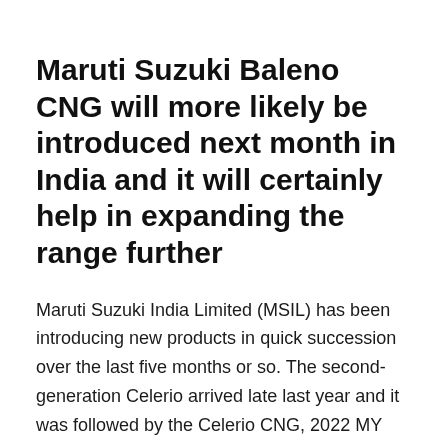Maruti Suzuki Baleno CNG will more likely be introduced next month in India and it will certainly help in expanding the range further
Maruti Suzuki India Limited (MSIL) has been introducing new products in quick succession over the last five months or so. The second-generation Celerio arrived late last year and it was followed by the Celerio CNG, 2022 MY